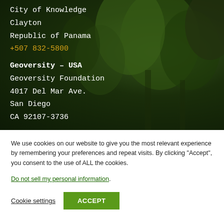City of Knowledge
Clayton
Republic of Panama
+507 832-5800
Geoversity – USA
Geoversity Foundation
4017 Del Mar Ave.
San Diego
CA 92107-3736
We use cookies on our website to give you the most relevant experience by remembering your preferences and repeat visits. By clicking "Accept", you consent to the use of ALL the cookies.
Do not sell my personal information.
Cookie settings
ACCEPT